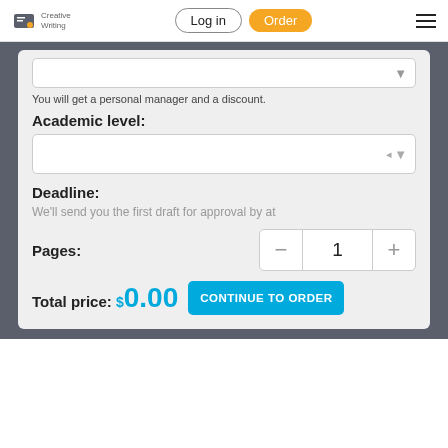Log in | Order
You will get a personal manager and a discount.
Academic level:
Deadline:
We'll send you the first draft for approval by at
Pages:
Total price: $ 0.00
CONTINUE TO ORDER